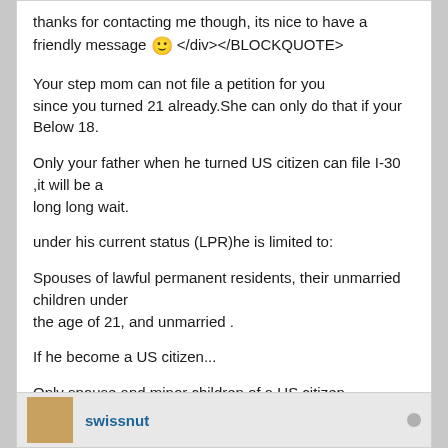thanks for contacting me though, its nice to have a friendly message 🙂 </div></BLOCKQUOTE>
Your step mom can not file a petition for you since you turned 21 already.She can only do that if your Below 18.
Only your father when he turned US citizen can file I-30 ,it will be a long long wait.
under his current status (LPR)he is limited to:
Spouses of lawful permanent residents, their unmarried children under the age of 21, and unmarried .
If he become a US citizen...
Only spouse and minor children of a US citizen which are considered immidiate family have a visa number available.
Children over 21 and unmarried of US citizen minimum wait is 6 to 7 years for their visa number to be current.
Married children min of 10 to 16 years.
swissnut